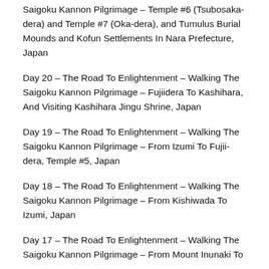Saigoku Kannon Pilgrimage – Temple #6 (Tsubosaka-dera) and Temple #7 (Oka-dera), and Tumulus Burial Mounds and Kofun Settlements In Nara Prefecture, Japan
Day 20 – The Road To Enlightenment – Walking The Saigoku Kannon Pilgrimage – Fujiidera To Kashihara, And Visiting Kashihara Jingu Shrine, Japan
Day 19 – The Road To Enlightenment – Walking The Saigoku Kannon Pilgrimage – From Izumi To Fujii-dera, Temple #5, Japan
Day 18 – The Road To Enlightenment – Walking The Saigoku Kannon Pilgrimage – From Kishiwada To Izumi, Japan
Day 17 – The Road To Enlightenment – Walking The Saigoku Kannon Pilgrimage – From Mount Inunaki To